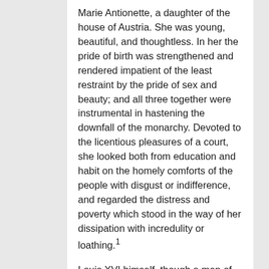Marie Antionette, a daughter of the house of Austria. She was young, beautiful, and thoughtless. In her the pride of birth was strengthened and rendered impatient of the least restraint by the pride of sex and beauty; and all three together were instrumental in hastening the downfall of the monarchy. Devoted to the licentious pleasures of a court, she looked both from education and habit on the homely comforts of the people with disgust or indifference, and regarded the distress and poverty which stood in the way of her dissipation with incredulity or loathing.¹
Louis XVI himself, though a man of good intentions, and free, in a remarkable degree, from the common